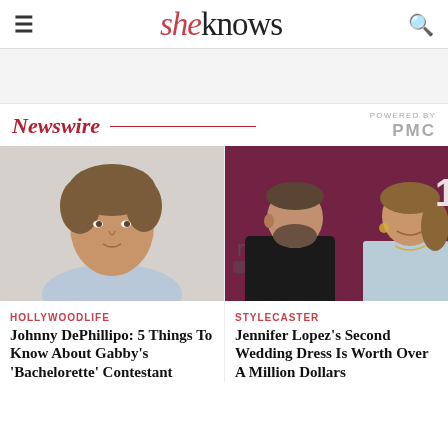sheknows
[Figure (other): Gray advertisement banner area]
Newswire — POWERED BY PMC
[Figure (photo): Headshot of Johnny DePhillipo, a young man with brown hair wearing a light blue shirt against white background]
[Figure (photo): Ben Affleck and Jennifer Lopez at a red carpet event, she is wearing a light blue gown, he is in a black suit]
HOLLYWOODLIFE
Johnny DePhillipo: 5 Things To Know About Gabby's 'Bachelorette' Contestant
STYLECASTER
Jennifer Lopez's Second Wedding Dress Is Worth Over A Million Dollars